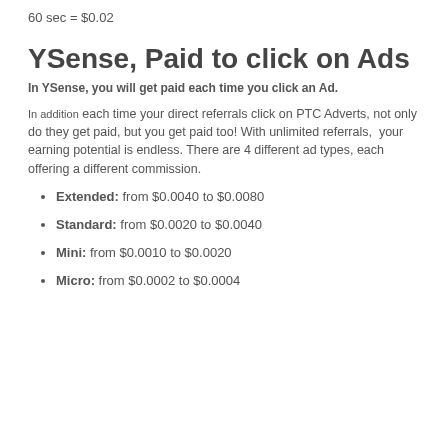60 sec = $0.02
YSense, Paid to click on Ads
In YSense, you will get paid each time you click an Ad.
In addition each time your direct referrals click on PTC Adverts, not only do they get paid, but you get paid too! With unlimited referrals, your earning potential is endless. There are 4 different ad types, each offering a different commission.
Extended: from $0.0040 to $0.0080
Standard: from $0.0020 to $0.0040
Mini: from $0.0010 to $0.0020
Micro: from $0.0002 to $0.0004